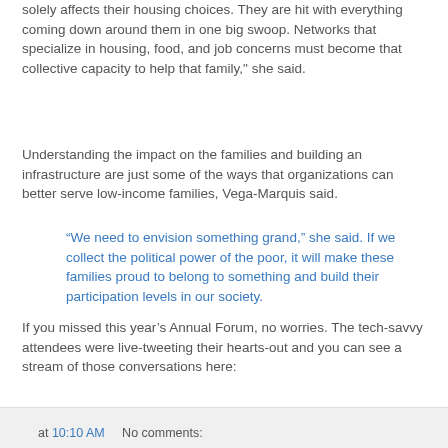solely affects their housing choices. They are hit with everything coming down around them in one big swoop. Networks that specialize in housing, food, and job concerns must become that collective capacity to help that family," she said.
Understanding the impact on the families and building an infrastructure are just some of the ways that organizations can better serve low-income families, Vega-Marquis said.
“We need to envision something grand,” she said. If we collect the political power of the poor, it will make these families proud to belong to something and build their participation levels in our society.
If you missed this year’s Annual Forum, no worries. The tech-savvy attendees were live-tweeting their hearts-out and you can see a stream of those conversations here:
at 10:10 AM     No comments: